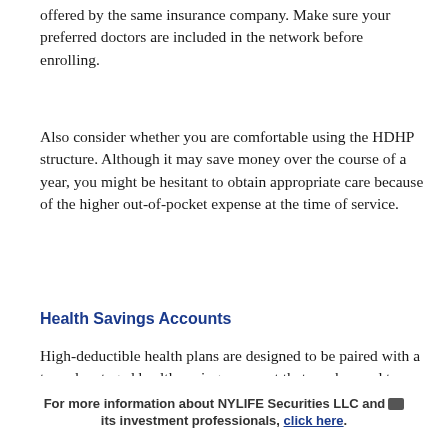offered by the same insurance company. Make sure your preferred doctors are included in the network before enrolling.
Also consider whether you are comfortable using the HDHP structure. Although it may save money over the course of a year, you might be hesitant to obtain appropriate care because of the higher out-of-pocket expense at the time of service.
Health Savings Accounts
High-deductible health plans are designed to be paired with a tax-advantaged health savings account that can be used to pay medical expenses incurred after the HSA is established. HSA contributions are typically made through pre-tax payroll deductions, but in most cases they can also be made as tax-
For more information about NYLIFE Securities LLC and its investment professionals, click here.